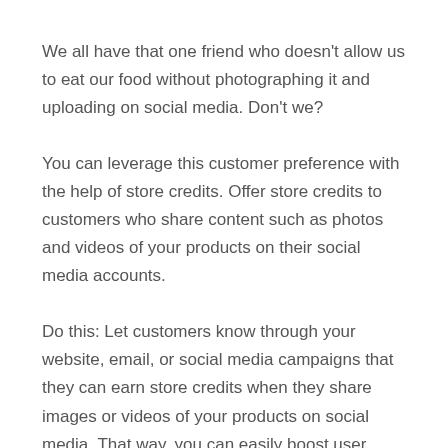We all have that one friend who doesn't allow us to eat our food without photographing it and uploading on social media. Don't we?
You can leverage this customer preference with the help of store credits. Offer store credits to customers who share content such as photos and videos of your products on their social media accounts.
Do this: Let customers know through your website, email, or social media campaigns that they can earn store credits when they share images or videos of your products on social media. That way, you can easily boost user generated content.